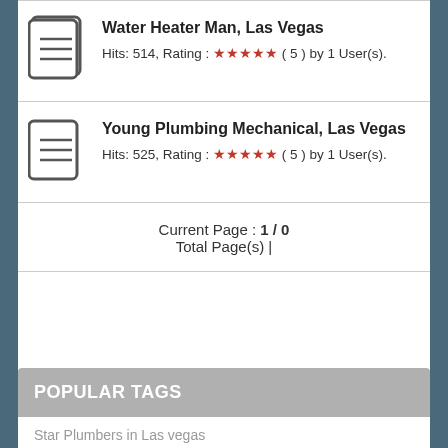Water Heater Man, Las Vegas — Hits: 514, Rating: ★★★★★ (5) by 1 User(s).
Young Plumbing Mechanical, Las Vegas — Hits: 525, Rating: ★★★★★ (5) by 1 User(s).
Current Page : 1 / 0
Total Page(s) |
POPULAR TAGS
Star Plumbers in Las vegas
Plumbers contact details
Plumbers in Las vegas